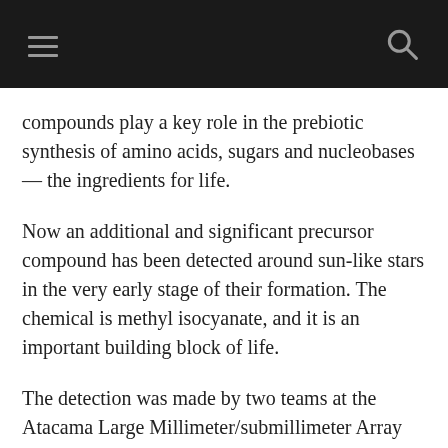compounds play a key role in the prebiotic synthesis of amino acids, sugars and nucleobases — the ingredients for life.
Now an additional and significant precursor compound has been detected around sun-like stars in the very early stage of their formation. The chemical is methyl isocyanate, and it is an important building block of life.
The detection was made by two teams at the Atacama Large Millimeter/submillimeter Array (ALMA) radio telescope, high in the Chilean desert.  The researchers described their detection as the first one of this prebiotic molecule around a